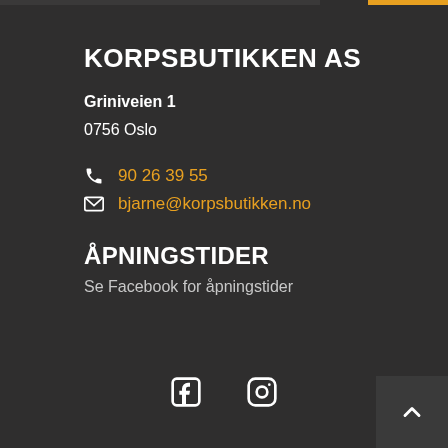KORPSBUTIKKEN AS
Griniveien 1
0756 Oslo
90 26 39 55
bjarne@korpsbutikken.no
ÅPNINGSTIDER
Se Facebook for åpningstider
[Figure (illustration): Facebook and Instagram social media icons at the bottom center of the page]
[Figure (illustration): Scroll-to-top button with upward chevron arrow in the bottom right corner]